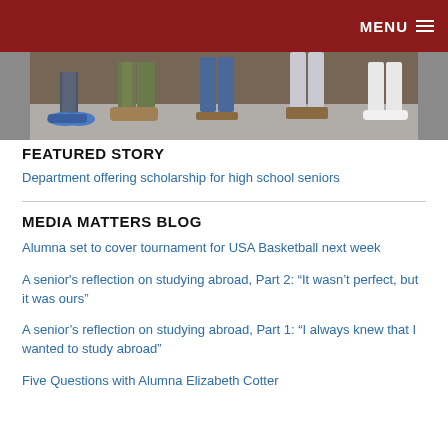MENU
[Figure (photo): Photo showing feet and lower legs of several students standing against a brick wall on a sidewalk, wearing various shoes including sneakers, boots, and sandals.]
FEATURED STORY
Department offering scholarship for high school seniors
MEDIA MATTERS BLOG
Alumna set to cover tournament for USA Basketball next week
A senior's reflection on studying abroad, Part 2: “It wasn’t perfect, but it was ours”
A senior’s reflection on studying abroad, Part 1: “I always knew that I wanted to study abroad”
Five Questions with Alumna Elizabeth Cotter